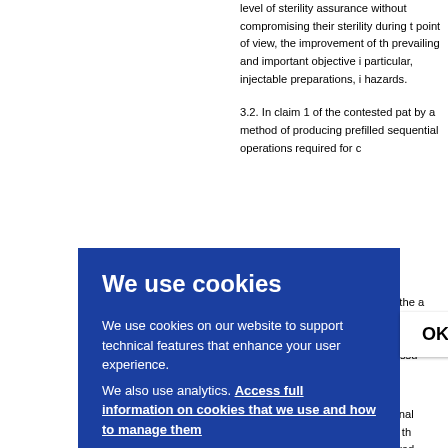level of sterility assurance without compromising their sterility during the point of view, the improvement of the prevailing and important objective in particular, injectable preparations, i hazards.
3.2. In claim 1 of the contested pate by a method of producing prefilled sequential operations required for c to the embl e mai ressu
We use cookies
We use cookies on our website to support technical features that enhance your user experience. We also use analytics. Access full information on cookies that we use and how to manage them
OK
ninal in th eved e of a n of p